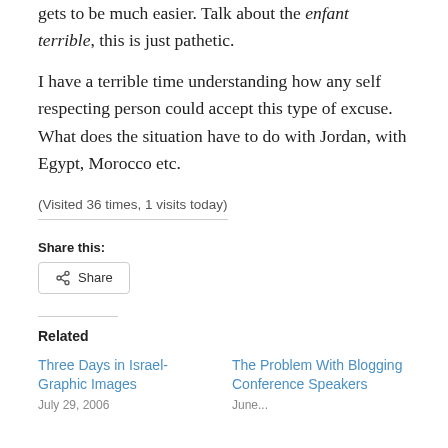gets to be much easier. Talk about the enfant terrible, this is just pathetic.
I have a terrible time understanding how any self respecting person could accept this type of excuse. What does the situation have to do with Jordan, with Egypt, Morocco etc.
(Visited 36 times, 1 visits today)
Share this:
Share
Related
Three Days in Israel-Graphic Images
The Problem With Blogging Conference Speakers